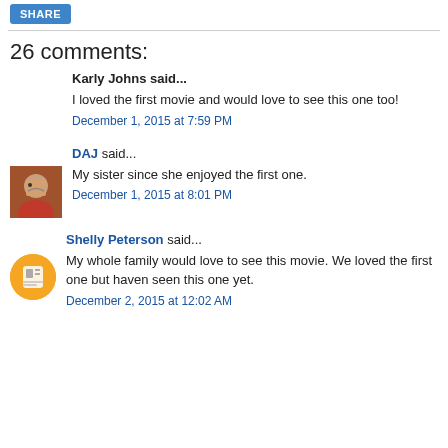26 comments:
Karly Johns said...
I loved the first movie and would love to see this one too!
December 1, 2015 at 7:59 PM
DAJ said...
My sister since she enjoyed the first one.
December 1, 2015 at 8:01 PM
Shelly Peterson said...
My whole family would love to see this movie. We loved the first one but haven seen this one yet.
December 2, 2015 at 12:02 AM